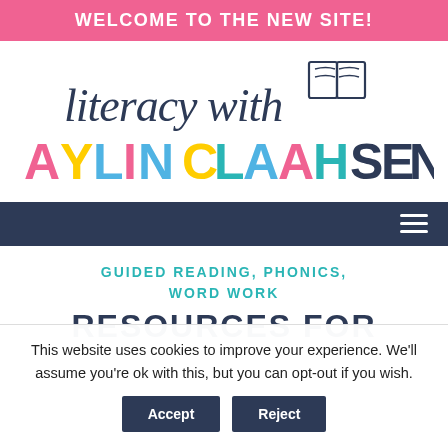WELCOME TO THE NEW SITE!
[Figure (logo): Literacy with Aylin Claahsen logo — cursive 'literacy with' text above colorful block letters 'AYLIN CLAAHSEN' with an open book icon]
[Figure (other): Navy navigation bar with hamburger menu icon on the right]
GUIDED READING, PHONICS, WORD WORK
RESOURCES FOR
This website uses cookies to improve your experience. We'll assume you're ok with this, but you can opt-out if you wish.
Accept
Reject